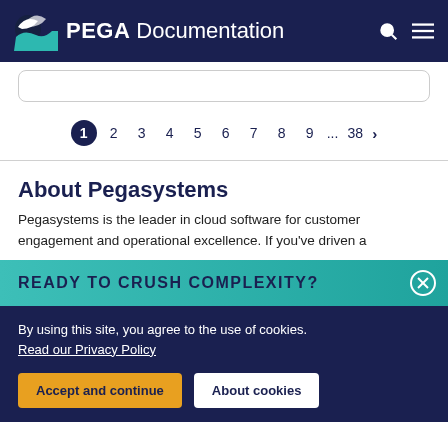PEGA Documentation
[Figure (screenshot): Search input box (partially visible at top)]
1 2 3 4 5 6 7 8 9 ... 38 >
About Pegasystems
Pegasystems is the leader in cloud software for customer engagement and operational excellence. If you've driven a
READY TO CRUSH COMPLEXITY?
By using this site, you agree to the use of cookies.
Read our Privacy Policy
Accept and continue   About cookies